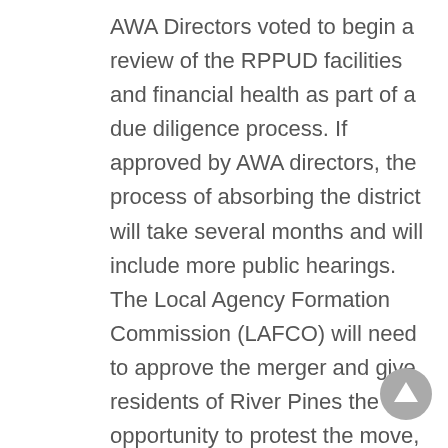AWA Directors voted to begin a review of the RPPUD facilities and financial health as part of a due diligence process. If approved by AWA directors, the process of absorbing the district will take several months and will include more public hearings. The Local Agency Formation Commission (LAFCO) will need to approve the merger and give residents of River Pines the opportunity to protest the move, if they wish.
RPPUD Board Chair Cathy Landgraf told AWA Directors that recent improvements to their system have been fully funded by state grants and that RPPUD is operating